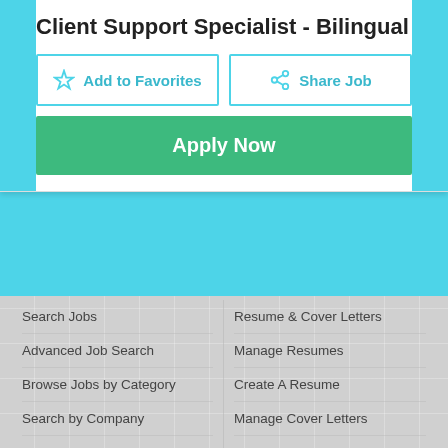Client Support Specialist - Bilingual
Add to Favorites
Share Job
Apply Now
Search Jobs
Resume & Cover Letters
Advanced Job Search
Manage Resumes
Browse Jobs by Category
Create A Resume
Search by Company
Manage Cover Letters
Create a Cover Letter
Job Search Tools
Account Information
My Apply History
My Saved Jobs